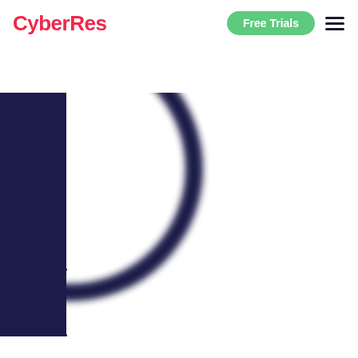CyberRes | Free Trials
[Figure (illustration): Dark navy blue background with a large circular ring and window/door frame graphic elements in white and dark navy, suggesting a cybersecurity themed decorative illustration]
Cybersecurity